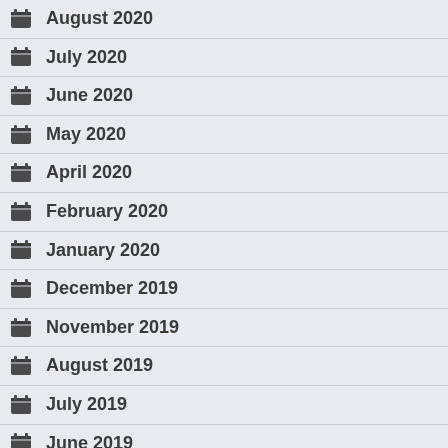August 2020
July 2020
June 2020
May 2020
April 2020
February 2020
January 2020
December 2019
November 2019
August 2019
July 2019
June 2019
May 2019